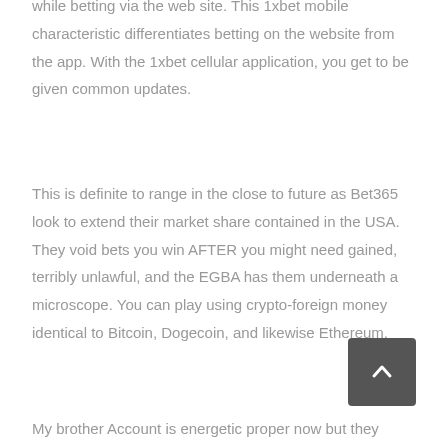while betting via the web site. This 1xbet mobile characteristic differentiates betting on the website from the app. With the 1xbet cellular application, you get to be given common updates.
This is definite to range in the close to future as Bet365 look to extend their market share contained in the USA. They void bets you win AFTER you might need gained, terribly unlawful, and the EGBA has them underneath a microscope. You can play using crypto-foreign money identical to Bitcoin, Dogecoin, and likewise Ethereum.
My brother Account is energetic proper now but they